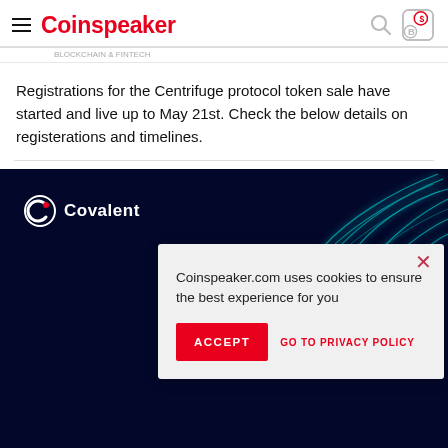Coinspeaker
Registrations for the Centrifuge protocol token sale have started and live up to May 21st. Check the below details on registerations and timelines.
[Figure (screenshot): Covalent advertisement banner with dark navy background and abstract glowing teal lines, with Covalent logo in top-left corner. Overlaid by a cookie consent popup saying 'Coinspeaker.com uses cookies to ensure the best experience for you' with ACCEPT button and GO TO PRIVACY POLICY link.]